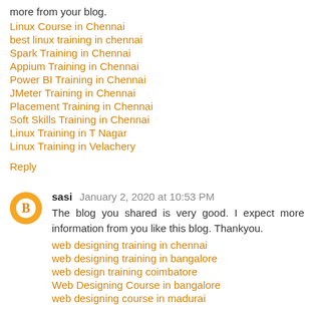more from your blog.
Linux Course in Chennai
best linux training in chennai
Spark Training in Chennai
Appium Training in Chennai
Power BI Training in Chennai
JMeter Training in Chennai
Placement Training in Chennai
Soft Skills Training in Chennai
Linux Training in T Nagar
Linux Training in Velachery
Reply
sasi  January 2, 2020 at 10:53 PM
The blog you shared is very good. I expect more information from you like this blog. Thankyou.
web designing training in chennai
web designing training in bangalore
web design training coimbatore
Web Designing Course in bangalore
web designing course in madurai